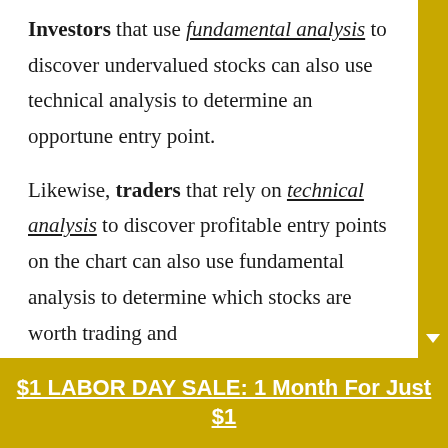Investors that use fundamental analysis to discover undervalued stocks can also use technical analysis to determine an opportune entry point.
Likewise, traders that rely on technical analysis to discover profitable entry points on the chart can also use fundamental analysis to determine which stocks are worth trading and
$1 LABOR DAY SALE: 1 Month For Just $1